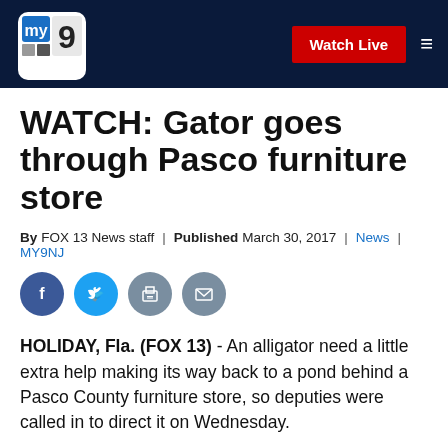MY9 | Watch Live
WATCH: Gator goes through Pasco furniture store
By FOX 13 News staff | Published March 30, 2017 | News | MY9NJ
[Figure (other): Social sharing icons: Facebook, Twitter, Print, Email]
HOLIDAY, Fla. (FOX 13) - An alligator need a little extra help making its way back to a pond behind a Pasco County furniture store, so deputies were called in to direct it on Wednesday.
The gator was spotted in the parking lot in front of American Freight Furniture in Holiday, employee Peter S... told FOX 13. We have called help action with the...